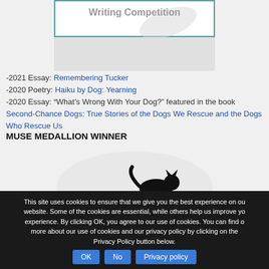[Figure (illustration): Writing Competition logo/banner with teal border and grey feather/quill watermark]
-2021 Essay: Remembering Tucker
-2020 Poetry: Haiku by Dog: Yearning
-2020 Essay: “What’s Wrong With Your Dog?” featured in the book Second-Chance Dogs: True Stories of the Dogs We Rescue and the Dogs Who Rescue Us
MUSE MEDALLION WINNER
[Figure (logo): CIAJA cat writers association logo with black cat silhouette walking over green text]
This site uses cookies to ensure that we give you the best experience on our website. Some of the cookies are essential, while others help us improve your experience. By clicking OK, you agree to our use of cookies. You can find out more about our use of cookies and our privacy policy by clicking on the Privacy Policy button below.